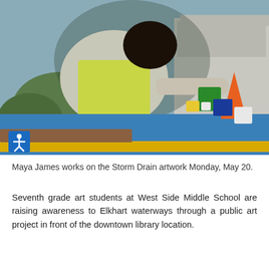[Figure (photo): A student wearing a yellow safety vest leans over a large blue painted surface outdoors, working on Storm Drain artwork in front of a public library building. Paint supplies including buckets and containers are visible nearby, along with an orange traffic cone.]
Maya James works on the Storm Drain artwork Monday, May 20.
Seventh grade art students at West Side Middle School are raising awareness to Elkhart waterways through a public art project in front of the downtown library location.